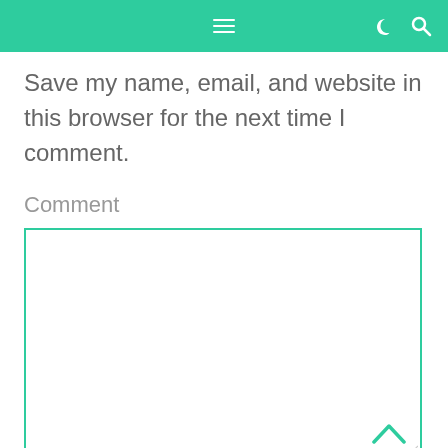Navigation bar with hamburger menu, moon icon, and search icon
Save my name, email, and website in this browser for the next time I comment.
Comment
[Figure (screenshot): Empty comment text area with teal border, chevron up arrow in bottom right, and resize handle]